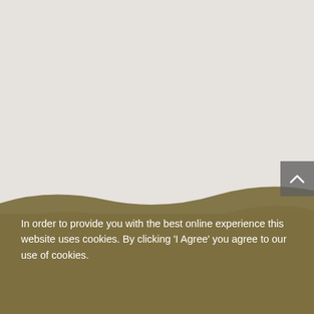[Figure (illustration): Website screenshot showing a light gray upper area with decorative organic wavy shapes in tan/brown and purple tones at the bottom forming a landscape-like background. A gray scroll-to-top button with an upward chevron is visible at the bottom right of the gray area. A cookie consent banner overlay appears at the bottom with dark olive/brown background.]
In order to provide you with the best online experience this website uses cookies. By clicking 'I Agree' you agree to our use of cookies.